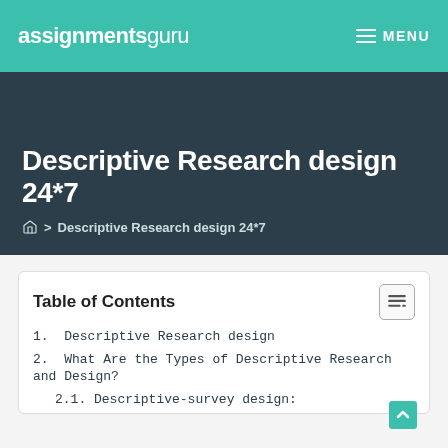assignmentsguru  ☰ MENU
Descriptive Research design 24*7
🏠 > Descriptive Research design 24*7
Table of Contents
1. Descriptive Research design
2. What Are the Types of Descriptive Research and Design?
2.1. Descriptive-survey design: